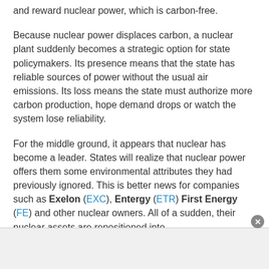and reward nuclear power, which is carbon-free.
Because nuclear power displaces carbon, a nuclear plant suddenly becomes a strategic option for state policymakers. Its presence means that the state has reliable sources of power without the usual air emissions. Its loss means the state must authorize more carbon production, hope demand drops or watch the system lose reliability.
For the middle ground, it appears that nuclear has become a leader. States will realize that nuclear power offers them some environmental attributes they had previously ignored. This is better news for companies such as Exelon (EXC), Entergy (ETR) First Energy (FE) and other nuclear owners. All of a sudden, their nuclear assets are repositioned into